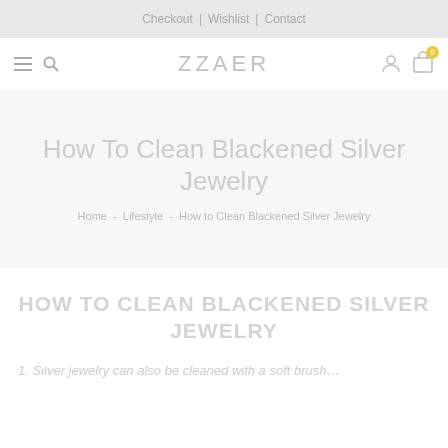Checkout  |  Wishlist  |  Contact
ZZAER
How To Clean Blackened Silver Jewelry
Home  -  Lifestyle  -  How to Clean Blackened Silver Jewelry
HOW TO CLEAN BLACKENED SILVER JEWELRY
1. Silver jewelry can also be cleaned with a soft brush…